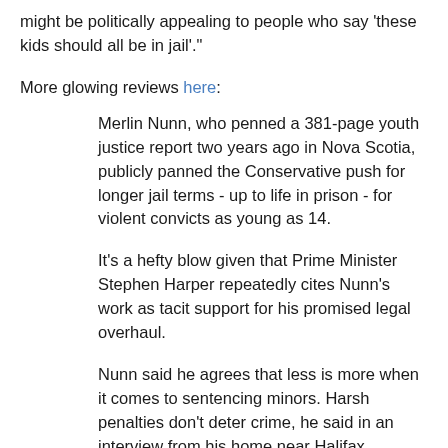might be politically appealing to people who say 'these kids should all be in jail'."
More glowing reviews here:
Merlin Nunn, who penned a 381-page youth justice report two years ago in Nova Scotia, publicly panned the Conservative push for longer jail terms - up to life in prison - for violent convicts as young as 14.
It's a hefty blow given that Prime Minister Stephen Harper repeatedly cites Nunn's work as tacit support for his promised legal overhaul.
Nunn said he agrees that less is more when it comes to sentencing minors. Harsh penalties don't deter crime, he said in an interview from his home near Halifax.
"There's no evidence anywhere in North America